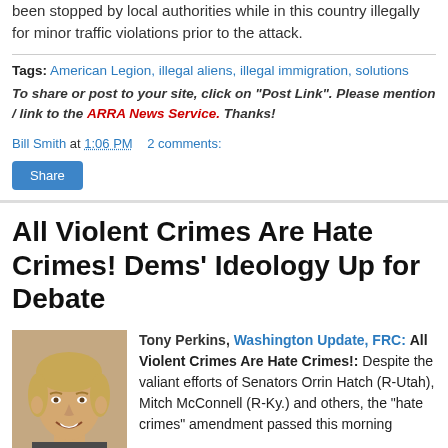been stopped by local authorities while in this country illegally for minor traffic violations prior to the attack.
Tags: American Legion, illegal aliens, illegal immigration, solutions
To share or post to your site, click on "Post Link". Please mention / link to the ARRA News Service. Thanks!
Bill Smith at 1:06 PM    2 comments:
All Violent Crimes Are Hate Crimes! Dems' Ideology Up for Debate
[Figure (photo): Headshot photo of Tony Perkins, a man with short blonde hair smiling]
Tony Perkins, Washington Update, FRC: All Violent Crimes Are Hate Crimes!: Despite the valiant efforts of Senators Orrin Hatch (R-Utah), Mitch McConnell (R-Ky.) and others, the "hate crimes" amendment passed this morning